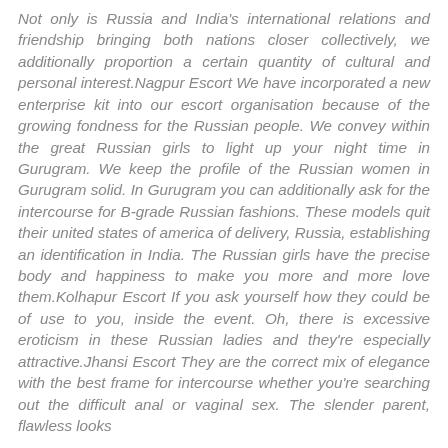Not only is Russia and India's international relations and friendship bringing both nations closer collectively, we additionally proportion a certain quantity of cultural and personal interest.Nagpur Escort We have incorporated a new enterprise kit into our escort organisation because of the growing fondness for the Russian people. We convey within the great Russian girls to light up your night time in Gurugram. We keep the profile of the Russian women in Gurugram solid. In Gurugram you can additionally ask for the intercourse for B-grade Russian fashions. These models quit their united states of america of delivery, Russia, establishing an identification in India. The Russian girls have the precise body and happiness to make you more and more love them.Kolhapur Escort If you ask yourself how they could be of use to you, inside the event. Oh, there is excessive eroticism in these Russian ladies and they're especially attractive.Jhansi Escort They are the correct mix of elegance with the best frame for intercourse whether you're searching out the difficult anal or vaginal sex. The slender parent, flawless looks